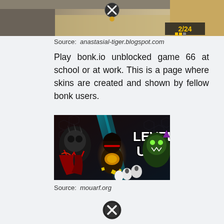[Figure (screenshot): Top portion of a game screenshot showing a bowling alley or racing game with a close button (X in circle) and score display showing 2/24]
Source: anastasial-tiger.blogspot.com
Play bonk.io unblocked game 66 at school or at work. This is a page where skins are created and shown by fellow bonk users.
[Figure (screenshot): Game screenshot showing bonk.io characters with 'LEVEL UP' text, featuring anime-style characters including a skull character, a main character in the center, and green monster on the right, with hexagon background pattern]
Source: mouarf.org
[Figure (other): Close button (X in black circle) at bottom of page]